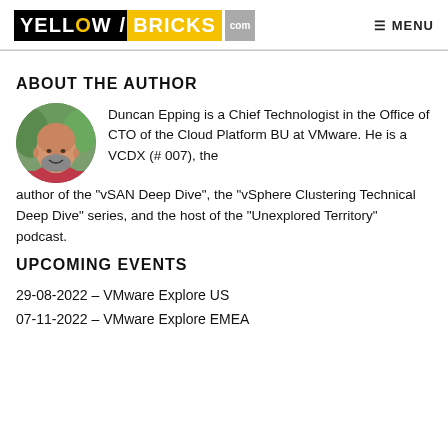YELLOW/BRICKS .com MENU
ABOUT THE AUTHOR
[Figure (photo): Circular profile photo of Duncan Epping, a bald man with a beard, wearing a pink/red shirt, smiling, with green foliage in the background.]
Duncan Epping is a Chief Technologist in the Office of CTO of the Cloud Platform BU at VMware. He is a VCDX (# 007), the author of the "vSAN Deep Dive", the "vSphere Clustering Technical Deep Dive" series, and the host of the "Unexplored Territory" podcast.
UPCOMING EVENTS
29-08-2022 – VMware Explore US
07-11-2022 – VMware Explore EMEA